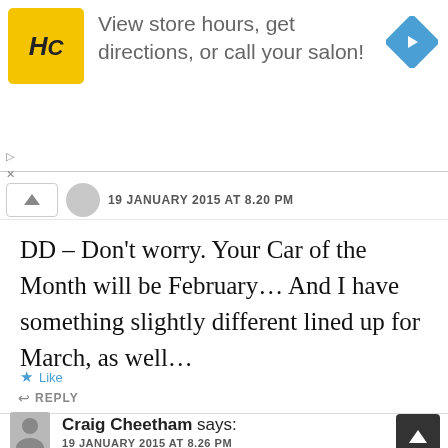[Figure (screenshot): Advertisement banner for Hair Club (HC) salon showing logo, text 'View store hours, get directions, or call your salon!' and a blue navigation arrow icon]
19 JANUARY 2015 AT 8.20 PM
DD – Don't worry. Your Car of the Month will be February… And I have something slightly different lined up for March, as well…
Like
REPLY
Craig Cheetham says:
19 JANUARY 2015 AT 8.26 PM